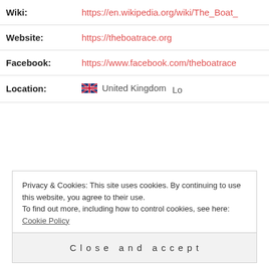| Field | Value |
| --- | --- |
| Wiki: | https://en.wikipedia.org/wiki/The_Boat_... |
| Website: | https://theboatrace.org |
| Facebook: | https://www.facebook.com/theboatrace |
| Location: | 🇬🇧 United Kingdom  Lon... |
Privacy & Cookies: This site uses cookies. By continuing to use this website, you agree to their use.
To find out more, including how to control cookies, see here: Cookie Policy
Close and accept